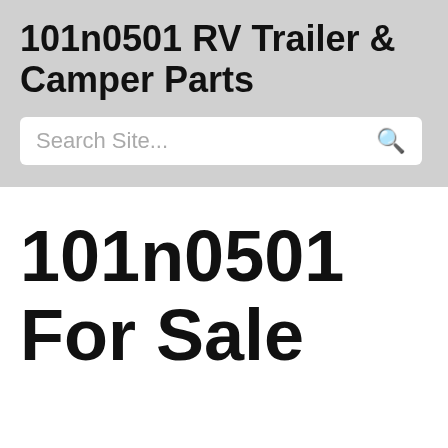101n0501 RV Trailer & Camper Parts
Search Site...
101n0501 For Sale